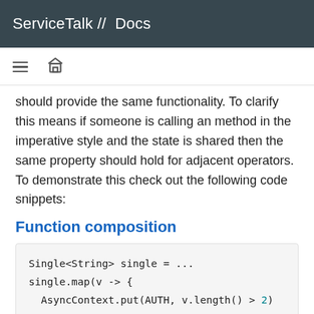ServiceTalk // Docs
should provide the same functionality. To clarify this means if someone is calling an method in the imperative style and the state is shared then the same property should hold for adjacent operators. To demonstrate this check out the following code snippets:
Function composition
Single<String> single = ...
single.map(v -> {
  AsyncContext.put(AUTH, v.length() > 2)
  return v + "1";
}).filter(v -> {